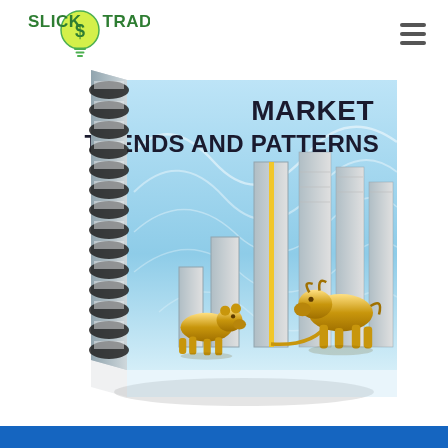[Figure (logo): SlickTrade logo — green lightbulb with a dollar sign and text SLICK TRADE in green]
[Figure (illustration): A spiral-bound book cover with title MARKET TRENDS AND PATTERNS. The cover shows a blue abstract background with bar charts, a golden bull, and a golden bear figurine. The book is shown in 3D perspective with a spiral binding on the left.]